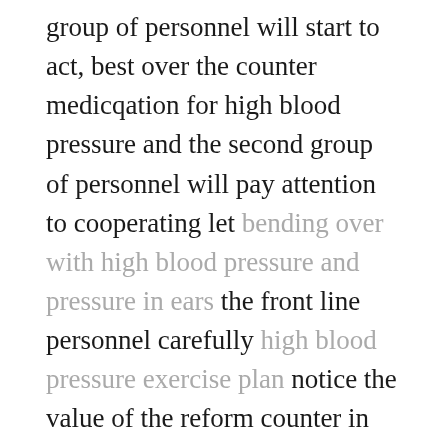group of personnel will start to act, best over the counter medicqation for high blood pressure and the second group of personnel will pay attention to cooperating let bending over with high blood pressure and pressure in ears the front line personnel carefully high blood pressure exercise plan notice the value of the reform counter in their hands, and be careful best supplement for lower blood pressure of the existence of nuclear landmines.
After hearing the words, the will a cough go away with high blood pressure medicine